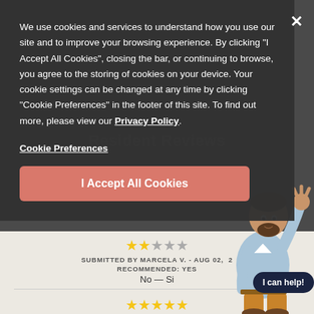[Figure (screenshot): Cookie consent overlay modal dialog shown over a resident reviews webpage. The overlay has a dark semi-transparent background with white text explaining cookie policy. Contains 'Cookie Preferences' link, 'I Accept All Cookies' button, and a close (X) button. Behind the overlay: 'Resident Reviews' page title, star ratings, and review submissions are partially visible.]
We use cookies and services to understand how you use our site and to improve your browsing experience. By clicking "I Accept All Cookies", closing the bar, or continuing to browse, you agree to the storing of cookies on your device. Your cookie settings can be changed at any time by clicking "Cookie Preferences" in the footer of this site. To find out more, please view our Privacy Policy.
Cookie Preferences
I Accept All Cookies
Resident Reviews
SUBMITTED BY DANIEL G. - AUG 05, 2021
RECOMMENDED: YES
HI — Hi
SUBMITTED BY MARCELA V. - AUG 02, 2021
RECOMMENDED: YES
No — Si
SUBMITTED BY TRAVIS R. - AUG 02, 2021
I can help!